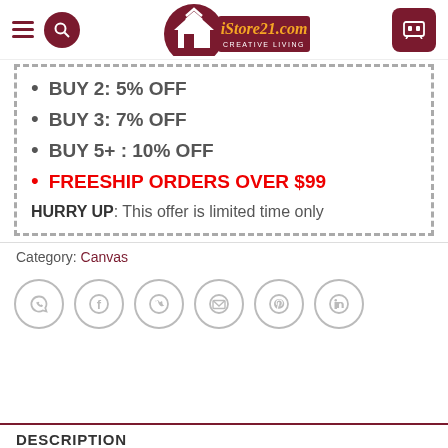[Figure (logo): iStore21.com creative living logo with house icon, dark red background]
BUY 2: 5% OFF
BUY 3: 7% OFF
BUY 5+ : 10% OFF
FREESHIP ORDERS OVER $99
HURRY UP: This offer is limited time only
Category: Canvas
[Figure (infographic): Social sharing icons: WhatsApp, Facebook, Twitter, Email, Pinterest, LinkedIn]
DESCRIPTION